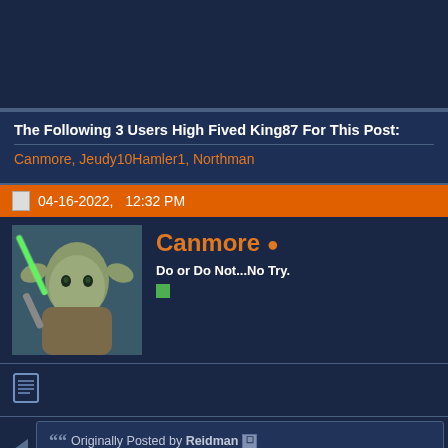The Following 3 Users High Fived King87 For This Post:
Canmore, Jeudy10Hamler1, Northman
04-16-2022, 12:32 PM
[Figure (photo): Avatar image of Yoda from Star Wars holding a green lightsaber]
Canmore • Do or Do Not...No Try.
Originally Posted by Reidman
This article is spot on....Way too many new elements to try to be ready for the start of the season. The offense will have a "br... players have to learn and understand each others nuances a... still see a 8-9 or 9-8 team this year but next year I believe th...

Or, I could be numb from watching the Broncos ineptness fo...